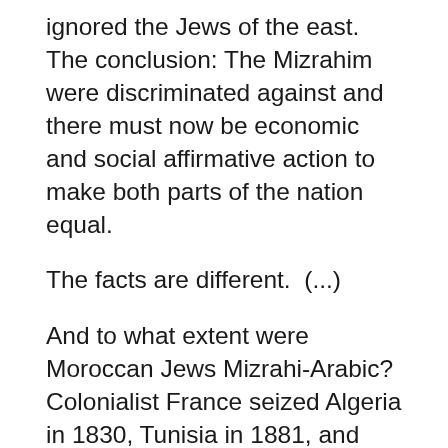ignored the Jews of the east. The conclusion: The Mizrahim were discriminated against and there must now be economic and social affirmative action to make both parts of the nation equal.
The facts are different.  (...)
And to what extent were Moroccan Jews Mizrahi-Arabic? Colonialist France seized Algeria in 1830, Tunisia in 1881, and Morocco in 1912. Even before that, France's Ashkenazi Jewish community had integrated into secular society in France and into its colonialist French culture. It declared itself the patrons of the Jews of the east, and set up the French Jewish